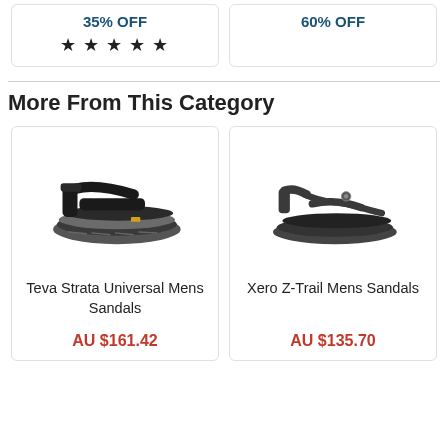35% OFF
★★★★★
60% OFF
More From This Category
[Figure (photo): Black Teva Strata Universal Mens Sandal viewed from the side]
Teva Strata Universal Mens Sandals
AU $161.42
[Figure (photo): Black Xero Z-Trail Mens Sandal viewed from the side]
Xero Z-Trail Mens Sandals
AU $135.70